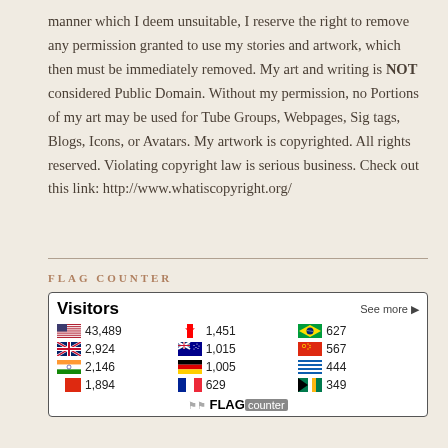manner which I deem unsuitable, I reserve the right to remove any permission granted to use my stories and artwork, which then must be immediately removed. My art and writing is NOT considered Public Domain. Without my permission, no Portions of my art may be used for Tube Groups, Webpages, Sig tags, Blogs, Icons, or Avatars. My artwork is copyrighted. All rights reserved. Violating copyright law is serious business. Check out this link: http://www.whatiscopyright.org/
FLAG COUNTER
[Figure (other): Flag Counter widget showing visitor counts by country: USA 43,489; UK 2,924; India 2,146; China 1,894; Canada 1,451; Australia 1,015; Germany 1,005; France 629; Brazil 627; Hong Kong 567; Greece 444; South Africa 349]